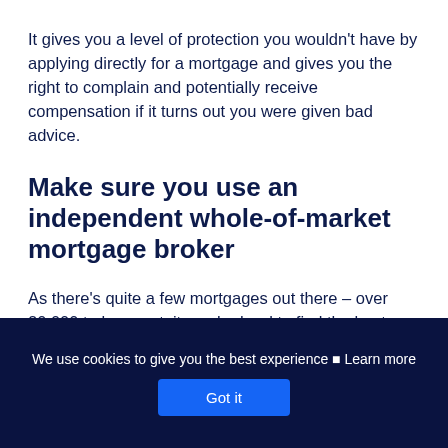It gives you a level of protection you wouldn't have by applying directly for a mortgage and gives you the right to complain and potentially receive compensation if it turns out you were given bad advice.
Make sure you use an independent whole-of-market mortgage broker
As there's quite a few mortgages out there – over 20,000 to be exact, it can be hard to find the best one for you and your personal circumstances.
We use cookies to give you the best experience ⓘ Learn more  Got it